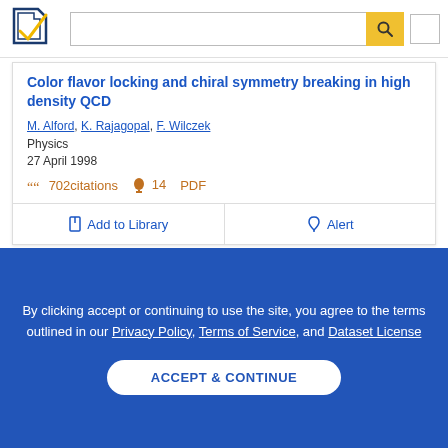Semantic Scholar header with logo and search bar
Color flavor locking and chiral symmetry breaking in high density QCD
M. Alford, K. Rajagopal, F. Wilczek
Physics
27 April 1998
702 citations  14  PDF
Add to Library   Alert
By clicking accept or continuing to use the site, you agree to the terms outlined in our Privacy Policy, Terms of Service, and Dataset License
ACCEPT & CONTINUE